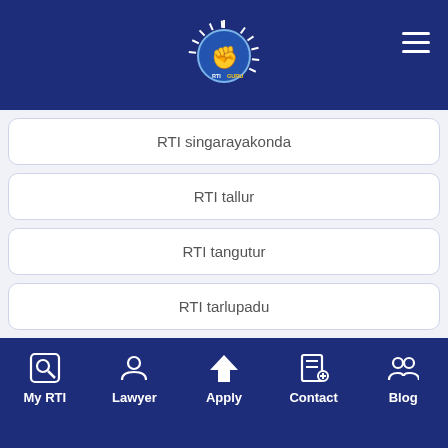[Figure (logo): RTI Guru logo with raised fist icon on dark blue header background]
RTI singarayakonda
RTI tallur
RTI tangutur
RTI tarlupadu
RTI tripuranthakam
RTI ulavapadu
RTI veligandla
My RTI   Lawyer   Apply   Contact   Blog